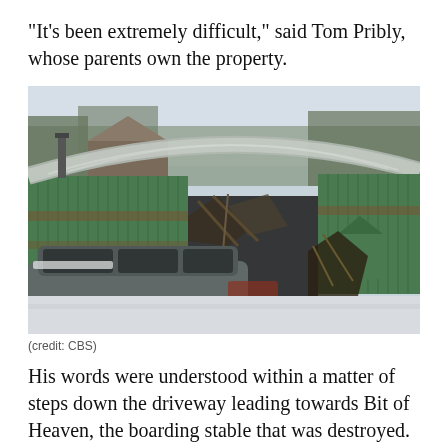"It's been extremely difficult," said Tom Pribly, whose parents own the property.
[Figure (photo): A collapsed barn or stable with green corrugated metal walls and a buckled arched roof. Debris is visible inside the open structure. An SUV is parked in the foreground, snow is on the ground, and bare trees are visible in the background.]
(credit: CBS)
His words were understood within a matter of steps down the driveway leading towards Bit of Heaven, the boarding stable that was destroyed. Parts of it